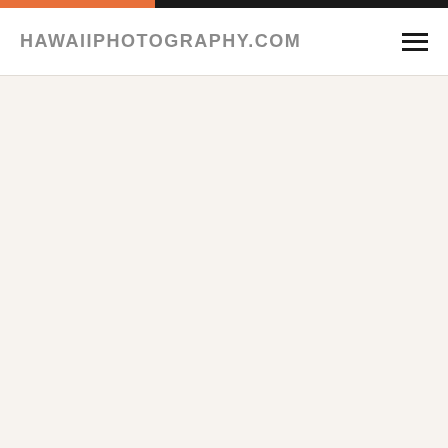HAWAIIPHOTOGRAPHY.COM
[Figure (other): Large empty content area with warm off-white background color #f7f3ef]